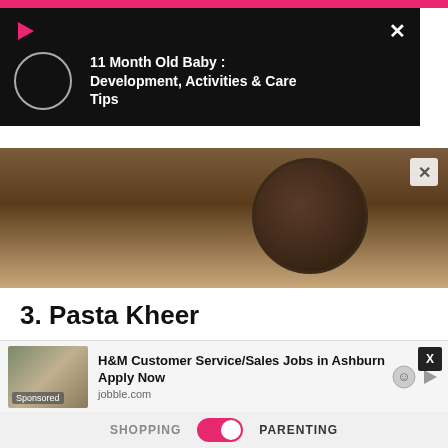[Figure (screenshot): Push notification overlay on black background with play icon, loading circle, and text '11 Month Old Baby : Development, Activities & Care Tips']
[Figure (photo): Food photo showing a dark plate with pasta kheer on a wooden surface]
3. Pasta Kheer
Caught you by surprise, didn't it? Let your child revel in delight as well when he comes across this weirdly beautiful recipe.
[Figure (screenshot): Advertisement banner: H&M Customer Service/Sales Jobs in Ashburn Apply Now, jobble.com, Sponsored]
[Figure (screenshot): Bottom navigation bar with SHOPPING and PARENTING labels and a pink toggle switch]